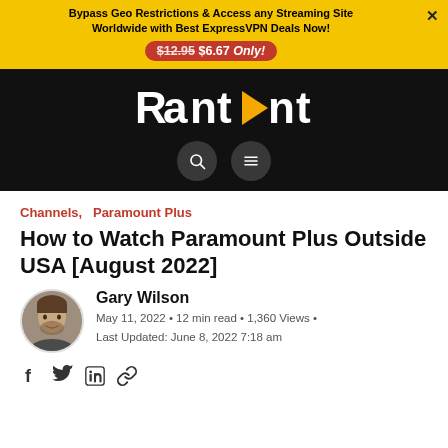Bypass Geo Restrictions & Access any Streaming Site Worldwide with Best ExpressVPN Deals Now! $12.95 $6.67 Only!
[Figure (logo): RantEnt logo in white text on black background with orange play button triangle replacing the letter E]
Channels,  Paramount Plus
How to Watch Paramount Plus Outside USA [August 2022]
Gary Wilson
May 11, 2022 • 12 min read • 1,360 Views •
Last Updated: June 8, 2022 7:18 am
Social share icons: Facebook, Twitter, LinkedIn, Link